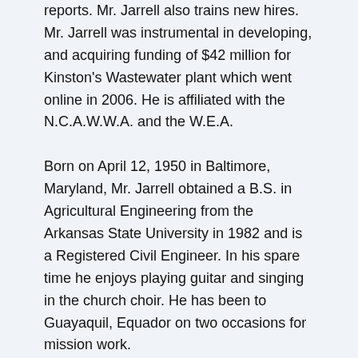reports. Mr. Jarrell also trains new hires. Mr. Jarrell was instrumental in developing, and acquiring funding of $42 million for Kinston's Wastewater plant which went online in 2006. He is affiliated with the N.C.A.W.W.A. and the W.E.A.
Born on April 12, 1950 in Baltimore, Maryland, Mr. Jarrell obtained a B.S. in Agricultural Engineering from the Arkansas State University in 1982 and is a Registered Civil Engineer. In his spare time he enjoys playing guitar and singing in the church choir. He has been to Guayaquil, Equador on two occasions for mission work.
About Strathmore's Who's Who Worldwide Strathmore's Who's Who Worldwide highlights the professional lives of individuals from every significant field or industry including business, medicine, law, education, art, government and